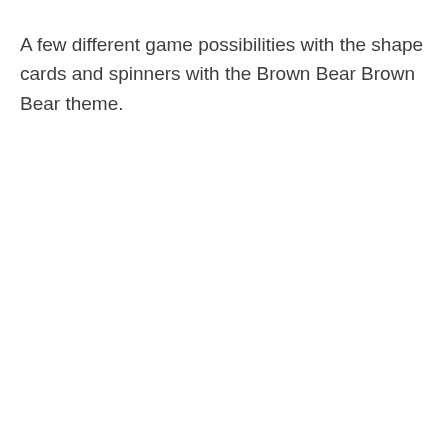A few different game possibilities with the shape cards and spinners with the Brown Bear Brown Bear theme.